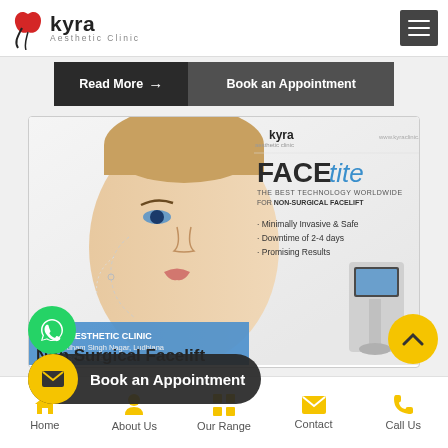Kyra Aesthetic Clinic
Read More → | Book an Appointment
[Figure (photo): FACEtite advertisement showing a woman's face with non-surgical facelift illustration, FACEtite machine, Kyra Aesthetic Clinic branding, and text: FACE tite, THE BEST TECHNOLOGY WORLDWIDE FOR NON-SURGICAL FACELIFT, Minimally Invasive & Safe, Downtime of 2-4 days, Promising Results, KYRA AESTHETIC CLINIC, 97-C, Udham Singh Nagar, Ludhiana]
Book an Appointment
Non Surgical Facelift
Home | About Us | Our Range | Contact | Call Us